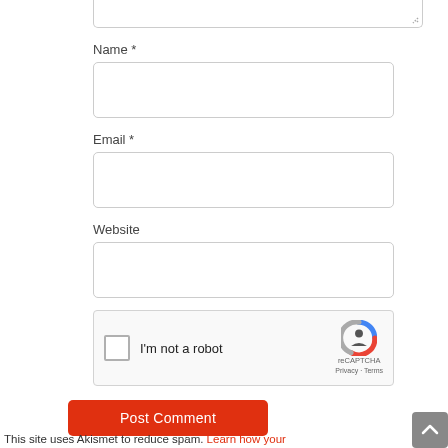[Figure (screenshot): Partial textarea input field at top of page (bottom portion visible with resize handle)]
Name *
[Figure (screenshot): Empty text input field for Name]
Email *
[Figure (screenshot): Empty text input field for Email]
Website
[Figure (screenshot): Empty text input field for Website]
[Figure (screenshot): reCAPTCHA widget with checkbox labeled 'I'm not a robot' and reCAPTCHA logo with Privacy and Terms links]
[Figure (screenshot): Red 'Post Comment' button]
This site uses Akismet to reduce spam. Learn how your